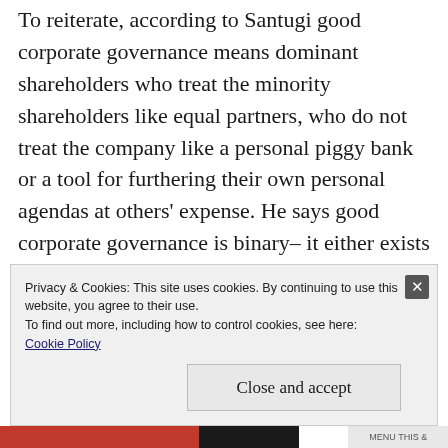To reiterate, according to Santugi good corporate governance means dominant shareholders who treat the minority shareholders like equal partners, who do not treat the company like a personal piggy bank or a tool for furthering their own personal agendas at others' expense. He says good corporate governance is binary– it either exists or it doesn't, there are no shades of grey here. The issues I've cited above make it clear that DWA does not have good corporate governance
Privacy & Cookies: This site uses cookies. By continuing to use this website, you agree to their use.
To find out more, including how to control cookies, see here:
Cookie Policy
Close and accept